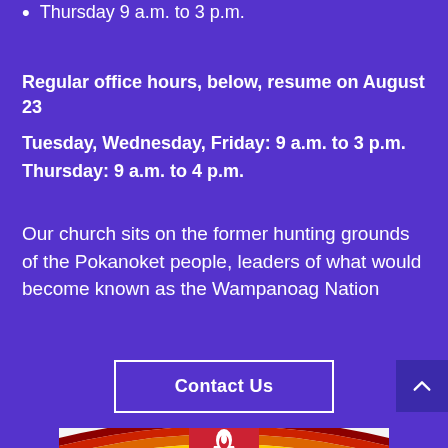Thursday 9 a.m. to 3 p.m.
Regular office hours, below, resume on August 23
Tuesday, Wednesday, Friday: 9 a.m. to 3 p.m.
Thursday: 9 a.m. to 4 p.m.
Our church sits on the former hunting grounds of the Pokanoket people, leaders of what would become known as the Wampanoag Nation
Contact Us
[Figure (logo): Unitarian Universalist chalice logo with rainbow pride stripes background]